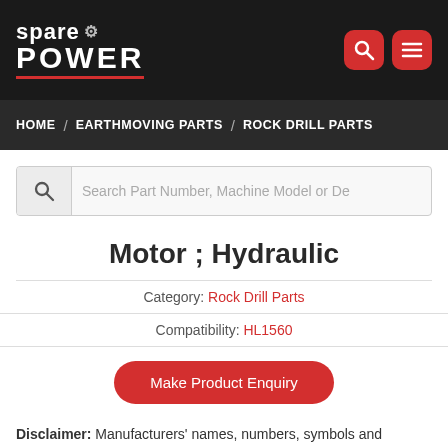spare POWER
HOME / EARTHMOVING PARTS / ROCK DRILL PARTS
[Figure (screenshot): Search bar with magnifying glass icon and placeholder text: Search Part Number, Machine Model or De]
Motor ; Hydraulic
Category: Rock Drill Parts
Compatibility: HL1560
Make Product Enquiry
Disclaimer: Manufacturers' names, numbers, symbols and descriptions are used for reference purposes only and it is not implied that the spare parts listed in the same are of f